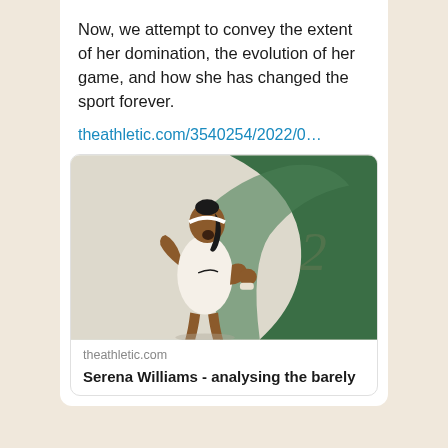Now, we attempt to convey the extent of her domination, the evolution of her game, and how she has changed the sport forever.
theathletic.com/3540254/2022/0…
[Figure (photo): Card preview showing Serena Williams celebrating on a tennis court, wearing white Nike outfit, with a green swoosh graphic background. Below the image: 'theathletic.com' and 'Serena Williams - analysing the barely']
theathletic.com
Serena Williams - analysing the barely